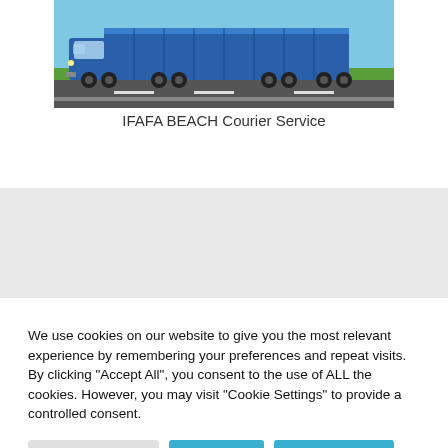[Figure (photo): A blue semi-truck (articulated lorry) with a blue trailer driving on a road with green fields and blue sky in the background.]
IFAFA BEACH Courier Service
We use cookies on our website to give you the most relevant experience by remembering your preferences and repeat visits. By clicking "Accept All", you consent to the use of ALL the cookies. However, you may visit "Cookie Settings" to provide a controlled consent.
Cookie Settings | Accept All | Privacy Policy